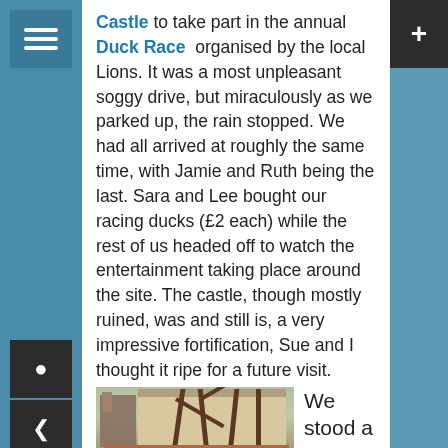Castle to take part in the annual Duck Race organised by the local Lions. It was a most unpleasant soggy drive, but miraculously as we parked up, the rain stopped. We had all arrived at roughly the same time, with Jamie and Ruth being the last. Sara and Lee bought our racing ducks (£2 each) while the rest of us headed off to watch the entertainment taking place around the site. The castle, though mostly ruined, was and still is, a very impressive fortification, Sue and I thought it ripe for a future visit.
[Figure (photo): Outdoor scene at a ruined castle courtyard with a Tudor-style timber-framed building in the background. Performers in pink/red costumes are dancing in the foreground while a crowd watches from the sides.]
We stood a while watching